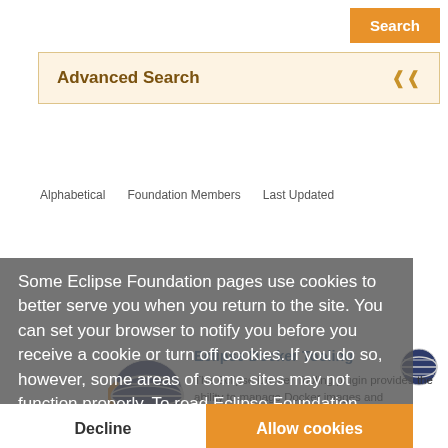[Figure (screenshot): Search button (orange) in top-right corner of a website]
Advanced Search
Alphabetical   Foundation Members   Last Updated
Some Eclipse Foundation pages use cookies to better serve you when you return to the site. You can set your browser to notify you before you receive a cookie or turn off cookies. If you do so, however, some areas of some sites may not function properly. To read Eclipse Foundation Privacy Policy click here.
Eclipse Docker Tooling
The Eclipse Docker Tooling plugin provides the ability to manage Docker images and containers from within the Eclipse IDE.
Linux Tools, Tools
Decline
Allow cookies